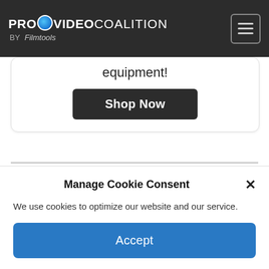PROVIDEO COALITION BY Filmtools
equipment!
Shop Now
Editing
Video
Manage Cookie Consent
We use cookies to optimize our website and our service.
Accept